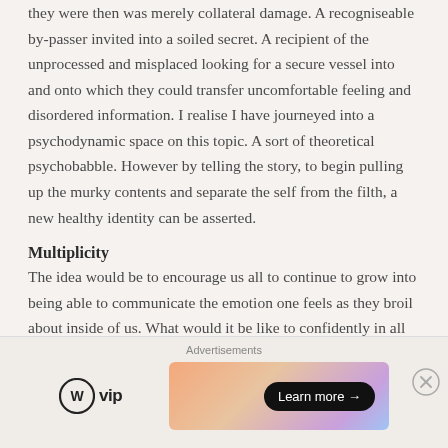they were then was merely collateral damage. A recogniseable by-passer invited into a soiled secret. A recipient of the unprocessed and misplaced looking for a secure vessel into and onto which they could transfer uncomfortable feeling and disordered information. I realise I have journeyed into a psychodynamic space on this topic. A sort of theoretical psychobabble. However by telling the story, to begin pulling up the murky contents and separate the self from the filth, a new healthy identity can be asserted.
Multiplicity
The idea would be to encourage us all to continue to grow into being able to communicate the emotion one feels as they broil about inside of us. What would it be like to confidently in all moments with trusted others share that specific energy in motion? The aim would be to develop and foster understanding between and
[Figure (other): Advertisement bar at bottom of page featuring WordPress VIP logo and an orange/pink gradient banner ad with 'Learn more →' button]